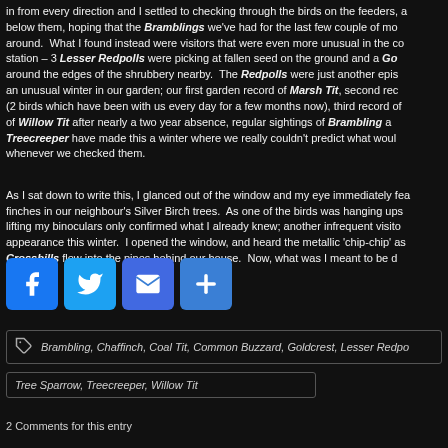in from every direction and I settled to checking through the birds on the feeders, and below them, hoping that the Bramblings we've had for the last few couple of months were around. What I found instead were visitors that were even more unusual in the context of this station – 3 Lesser Redpolls were picking at fallen seed on the ground and a Goldcrest hopped around the edges of the shrubbery nearby. The Redpolls were just another episode in an unusual winter in our garden; our first garden record of Marsh Tit, second record of Siskin (2 birds which have been with us every day for a few months now), third record of...and first of Willow Tit after nearly a two year absence, regular sightings of Brambling and...Treecreeper have made this a winter where we really couldn't predict what would be there whenever we checked them.
As I sat down to write this, I glanced out of the window and my eye immediately fell on finches in our neighbour's Silver Birch trees. As one of the birds was hanging upsidedown, lifting my binoculars only confirmed what I already knew; another infrequent visitor making an appearance this winter. I opened the window, and heard the metallic 'chip-chip' as the Crossbills flew into the pines behind our house. Now, what was I meant to be doing?
[Figure (infographic): Social media share buttons: Facebook (blue), Twitter (light blue), Email (blue envelope), Share (blue plus)]
Brambling, Chaffinch, Coal Tit, Common Buzzard, Goldcrest, Lesser Redpoll...
Tree Sparrow, Treecreeper, Willow Tit
2 Comments for this entry